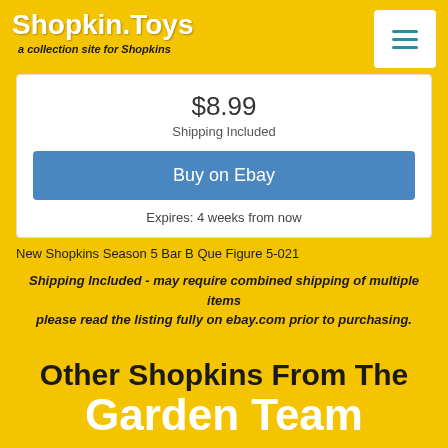Shopkin.Toys — a collection site for Shopkins
$8.99
Shipping Included
Buy on Ebay
Expires: 4 weeks from now
New Shopkins Season 5 Bar B Que Figure 5-021
Shipping Included - may require combined shipping of multiple items please read the listing fully on ebay.com prior to purchasing.
Other Shopkins From The Garden Team